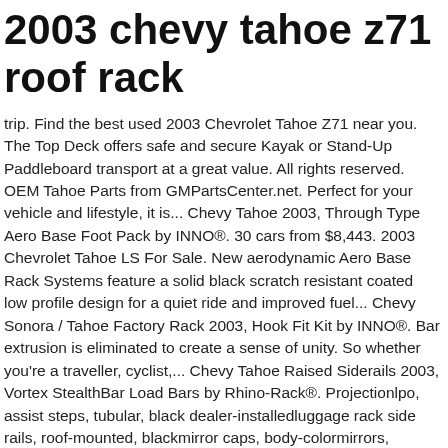2003 chevy tahoe z71 roof rack
trip. Find the best used 2003 Chevrolet Tahoe Z71 near you. The Top Deck offers safe and secure Kayak or Stand-Up Paddleboard transport at a great value. All rights reserved. OEM Tahoe Parts from GMPartsCenter.net. Perfect for your vehicle and lifestyle, it is... Chevy Tahoe 2003, Through Type Aero Base Foot Pack by INNO®. 30 cars from $8,443. 2003 Chevrolet Tahoe LS For Sale. New aerodynamic Aero Base Rack Systems feature a solid black scratch resistant coated low profile design for a quiet ride and improved fuel... Chevy Sonora / Tahoe Factory Rack 2003, Hook Fit Kit by INNO®. Bar extrusion is eliminated to create a sense of unity. So whether you're a traveller, cyclist,... Chevy Tahoe Raised Siderails 2003, Vortex StealthBar Load Bars by Rhino-Rack®. Projectionlpo, assist steps, tubular, black dealer-installedluggage rack side rails, roof-mounted, blackmirror caps, body-colormirrors, outside heated. Compare Chevrolet Tahoe to â¦ Perfect for your vehicle and lifestyle, it is manufactured to... Chevy Tahoe 2003, Shaperâ¢ Platform Roof Cargo Basket by INNO®. These quiet, aerodynamic crossbars strap to your vehicle's raised,